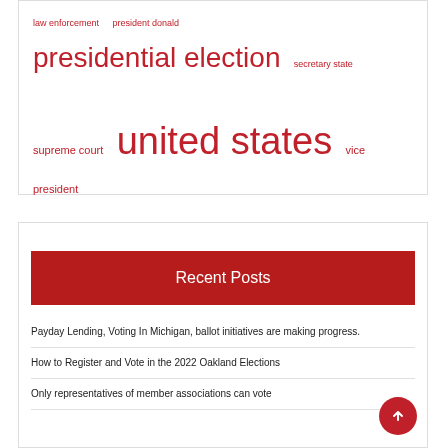law enforcement  president donald  presidential election  secretary state  supreme court  united states  vice president  white house
Recent Posts
Payday Lending, Voting In Michigan, ballot initiatives are making progress.
How to Register and Vote in the 2022 Oakland Elections
Only representatives of member associations can vote